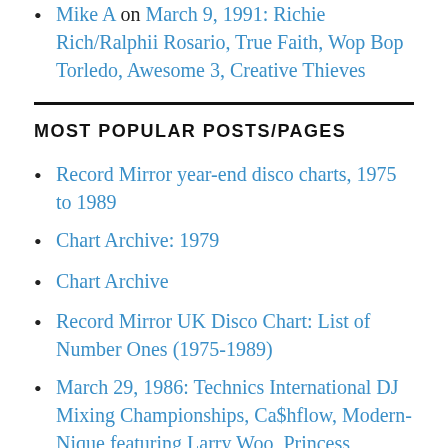Mike A on March 9, 1991: Richie Rich/Ralphii Rosario, True Faith, Wop Bop Torledo, Awesome 3, Creative Thieves
MOST POPULAR POSTS/PAGES
Record Mirror year-end disco charts, 1975 to 1989
Chart Archive: 1979
Chart Archive
Record Mirror UK Disco Chart: List of Number Ones (1975-1989)
March 29, 1986: Technics International DJ Mixing Championships, Ca$hflow, Modern-Nique featuring Larry Woo, Princess, Fingers